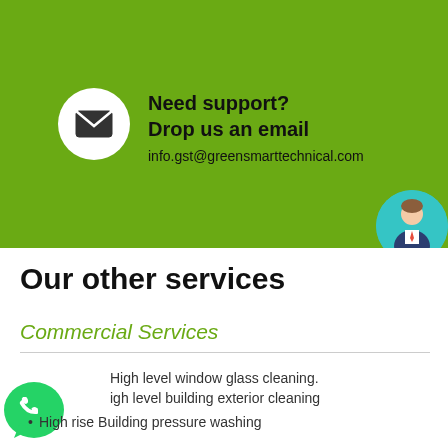[Figure (infographic): Green banner with white email icon circle and support contact text]
Need support?
Drop us an email
info.gst@greensmarttechnical.com
Our other services
Commercial Services
High level window glass cleaning.
High level building exterior cleaning
High rise Building pressure washing